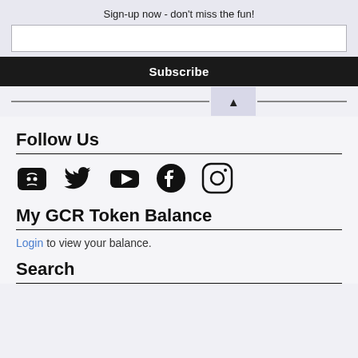Sign-up now - don't miss the fun!
[Figure (other): Email input field for newsletter signup]
Subscribe
[Figure (other): Scroll to top button with triangle arrow, flanked by horizontal rules]
Follow Us
[Figure (other): Social media icons: Discord, Twitter, YouTube, Facebook, Instagram]
My GCR Token Balance
Login to view your balance.
Search